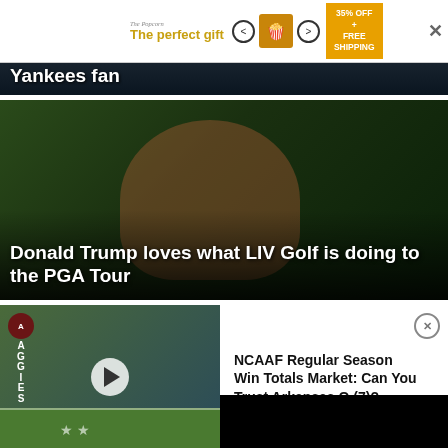[Figure (screenshot): Advertisement banner: The perfect gift - 35% OFF + FREE SHIPPING with close button]
[Figure (photo): News article card showing text 'ML... Yankees fan' over dark image]
[Figure (photo): News article: Donald Trump loves what LIV Golf is doing to the PGA Tour - man in red cap swinging golf club]
[Figure (screenshot): Video thumbnail of football player on field with Aggies signage and play button]
NCAAF Regular Season Win Totals Market: Can You Trust Arkansas O (7)?